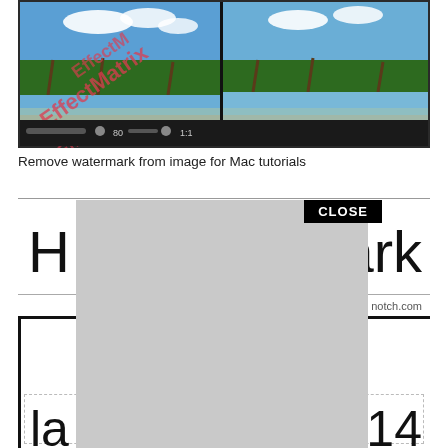[Figure (screenshot): Screenshot of a watermark removal software interface for Mac, showing a tropical beach scene split into two panels with EffectMatrix watermark text overlaid on the left panel, and a dark toolbar at the bottom.]
Remove watermark from image for Mac tutorials
[Figure (screenshot): Partially visible document or web page with a CLOSE button in the upper right, large partial text 'H...ark' visible, a horizontal rule, 'notch.com' text, a gray overlay dialog box covering the center, and partial text 'la' and '014' visible at the bottom.]